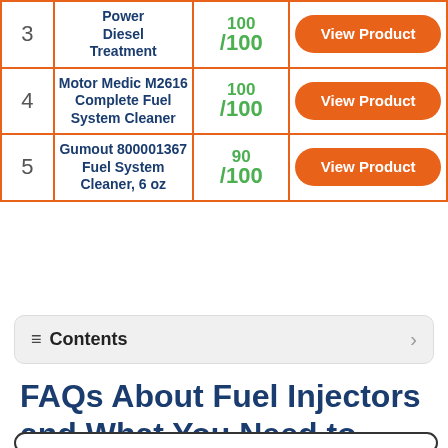| # | Product | Score |  |
| --- | --- | --- | --- |
| 3 | Power Diesel Treatment | 100/100 | View Product |
| 4 | Motor Medic M2616 Complete Fuel System Cleaner | 100/100 | View Product |
| 5 | Gumout 800001367 Fuel System Cleaner, 6 oz | 90/100 | View Product |
≡ Contents
FAQs About Fuel Injectors and What You Need to Know Before Buying Them